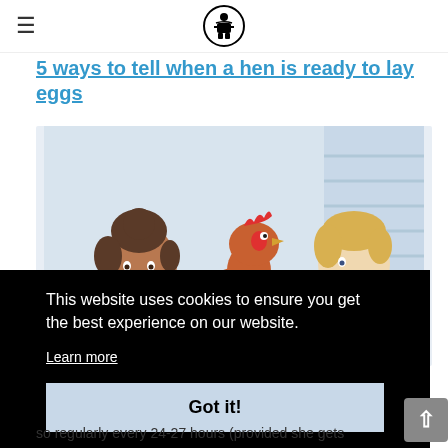≡ [wikihow logo]
5 ways to tell when a hen is ready to lay eggs
[Figure (illustration): Illustration of a woman and a male doctor/vet examining a brown hen against a light blue background]
This website uses cookies to ensure you get the best experience on our website. Learn more Got it!
so regularly every 24-27 hours (provided she gets